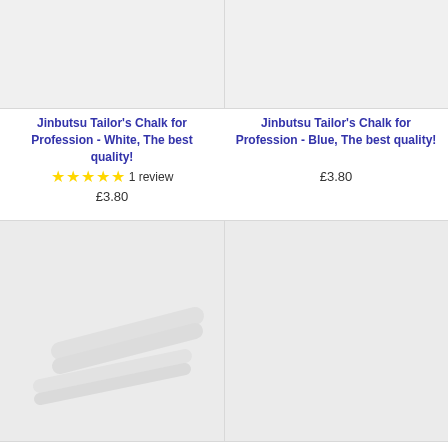[Figure (photo): Product image placeholder for white tailor's chalk, light gray background]
Jinbutsu Tailor's Chalk for Profession - White, The best quality!
★★★★★ 1 review
£3.80
[Figure (photo): Product image placeholder for blue tailor's chalk, light gray background]
Jinbutsu Tailor's Chalk for Profession - Blue, The best quality!
£3.80
[Figure (photo): Product image showing white tailor's chalk pieces on light gray background]
[Figure (photo): Product image placeholder, light gray background]